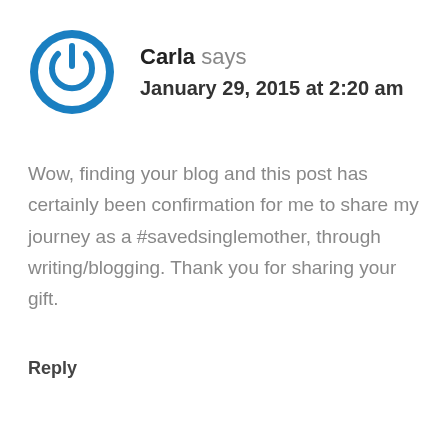[Figure (logo): Blue circular power button icon — circle with gap at top, power symbol inside, on white background]
Carla says
January 29, 2015 at 2:20 am
Wow, finding your blog and this post has certainly been confirmation for me to share my journey as a #savedsinglemother, through writing/blogging. Thank you for sharing your gift.
Reply